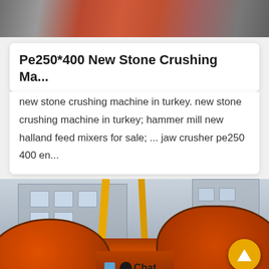[Figure (photo): Top partial photo showing industrial machinery parts in red/orange color, viewed from above]
Pe250*400 New Stone Crushing Ma...
new stone crushing machine in turkey. new stone crushing machine in turkey; hammer mill new halland feed mixers for sale; ... jaw crusher pe250 400 en...
[Figure (photo): Photo of large orange industrial ball mill grinding machines in a factory yard, with yellow crane structures in background and a building. Overlay shows a chat icon with 'Chat' label and an orange up-arrow button.]
Leave Message    Chat Online